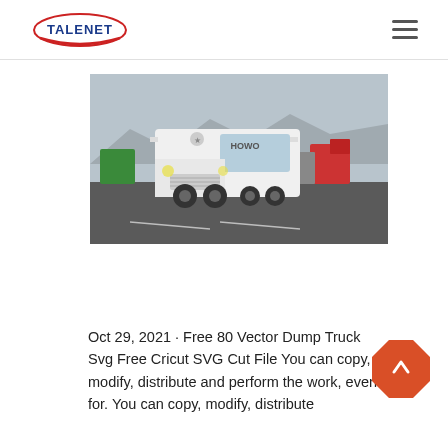TALENET
[Figure (photo): White HOWO truck tractor unit in a truck yard with other heavy trucks in the background, taken outdoors on a paved surface with mountains visible in the distance.]
Oct 29, 2021 · Free 80 Vector Dump Truck Svg Free Cricut SVG Cut File You can copy, modify, distribute and perform the work, even for. You can copy, modify, distribute